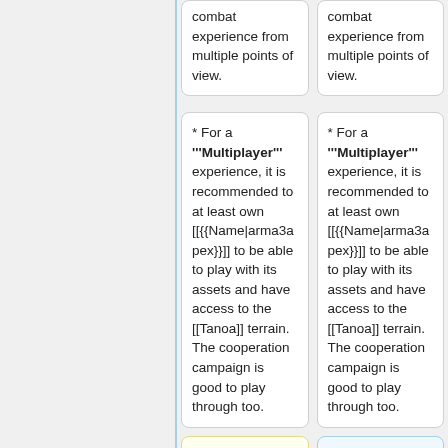combat experience from multiple points of view.
combat experience from multiple points of view.
* For a '''Multiplayer''' experience, it is recommended to at least own [[{{Name|arma3apex}}]] to be able to play with its assets and have access to the [[Tanoa]] terrain. The cooperation campaign is good to play through too.
* For a '''Multiplayer''' experience, it is recommended to at least own [[{{Name|arma3apex}}]] to be able to play with its assets and have access to the [[Tanoa]] terrain. The cooperation campaign is good to play through too.
* Every asset such as weapons and vehicles
* Every asset such as weapons and vehicles